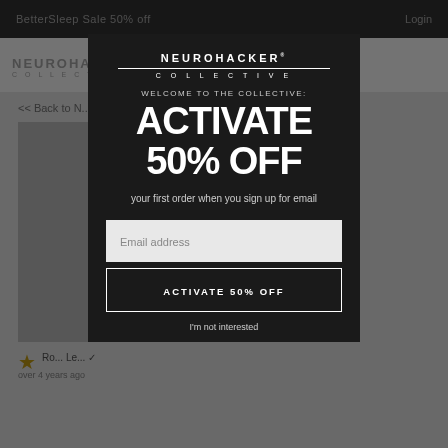[Figure (screenshot): Background webpage showing Neurohacker Collective website with top dark bar, white nav bar with logo, and dimmed content area with a back link, product image placeholder, star rating, and review text]
[Figure (screenshot): Modal popup dialog on dark background showing Neurohacker Collective logo, 'WELCOME TO THE COLLECTIVE:' heading, 'ACTIVATE 50% OFF' large headline, 'your first order when you sign up for email' subtext, an email address input field, an 'ACTIVATE 50% OFF' button, and 'I'm not interested' dismiss link]
WELCOME TO THE COLLECTIVE:
ACTIVATE 50% OFF
your first order when you sign up for email
Email address
ACTIVATE 50% OFF
I'm not interested